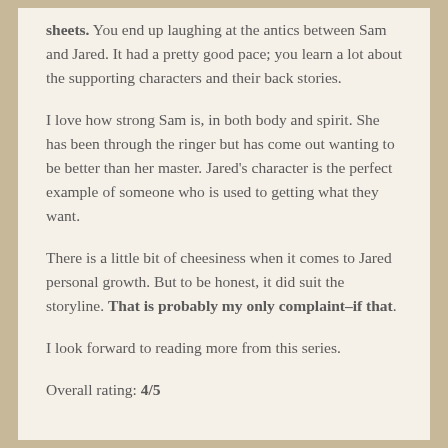sheets. You end up laughing at the antics between Sam and Jared. It had a pretty good pace; you learn a lot about the supporting characters and their back stories.
I love how strong Sam is, in both body and spirit. She has been through the ringer but has come out wanting to be better than her master. Jared's character is the perfect example of someone who is used to getting what they want.
There is a little bit of cheesiness when it comes to Jared personal growth. But to be honest, it did suit the storyline. That is probably my only complaint–if that.
I look forward to reading more from this series.
Overall rating: 4/5